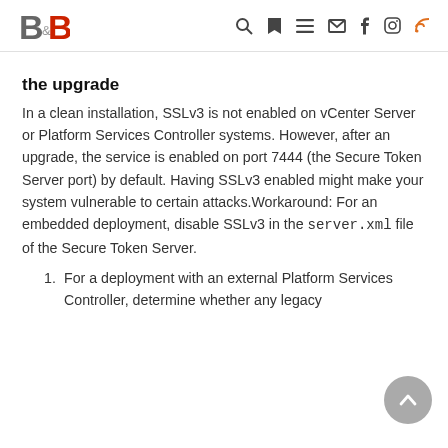B&B [navigation icons: search, bookmark, menu, email, facebook, instagram, rss]
the upgrade
In a clean installation, SSLv3 is not enabled on vCenter Server or Platform Services Controller systems. However, after an upgrade, the service is enabled on port 7444 (the Secure Token Server port) by default. Having SSLv3 enabled might make your system vulnerable to certain attacks.Workaround: For an embedded deployment, disable SSLv3 in the server.xml file of the Secure Token Server.
1. For a deployment with an external Platform Services Controller, determine whether any legacy